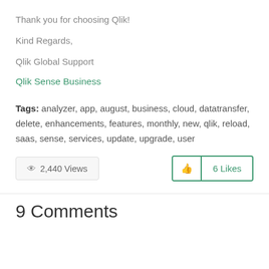Thank you for choosing Qlik!
Kind Regards,
Qlik Global Support
Qlik Sense Business
Tags: analyzer, app, august, business, cloud, datatransfer, delete, enhancements, features, monthly, new, qlik, reload, saas, sense, services, update, upgrade, user
2,440 Views
6 Likes
9 Comments